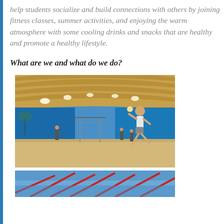help students socialize and build connections with others by joining fitness classes, summer activities, and enjoying the warm atmosphere with some cooling drinks and snacks that are healthy and promote a healthy lifestyle.
What are we and what do we do?
[Figure (photo): Indoor beach volleyball court with blue walls and a person jumping mid-air. Sandy floor, volleyball nets, and other players visible in the background under a wooden arched roof with bright lights.]
[Figure (photo): Partial view of another sports facility image at the bottom of the page.]